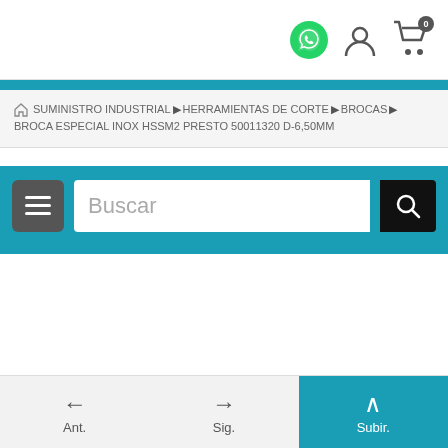[Figure (screenshot): Top header bar with WhatsApp icon, user account icon, and shopping cart icon with badge '0']
SUMINISTRO INDUSTRIAL ▶ HERRAMIENTAS DE CORTE ▶ BROCAS ▶ BROCA ESPECIAL INOX HSSM2 PRESTO 50011320 D-6,50MM
[Figure (screenshot): Teal search bar section with hamburger menu button on left, search input field with placeholder 'Buscar', and black search button with magnifier icon on right]
[Figure (screenshot): Bottom navigation bar with Ant. (back arrow), Sig. (forward arrow), and Subir (up arrow on teal background) buttons]